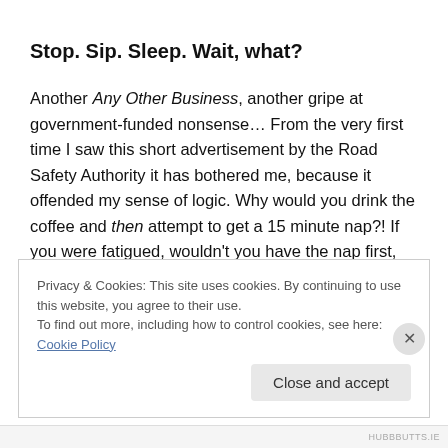Stop. Sip. Sleep. Wait, what?
Another Any Other Business, another gripe at government-funded nonsense… From the very first time I saw this short advertisement by the Road Safety Authority it has bothered me, because it offended my sense of logic. Why would you drink the coffee and then attempt to get a 15 minute nap?! If you were fatigued, wouldn't you have the nap first, then drink the coffee to energise yourself
Privacy & Cookies: This site uses cookies. By continuing to use this website, you agree to their use. To find out more, including how to control cookies, see here: Cookie Policy Close and accept